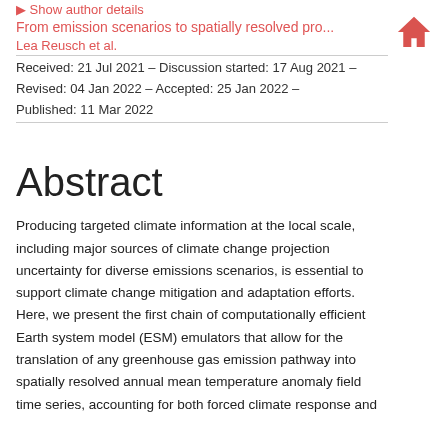▶ Show author details
From emission scenarios to spatially resolved pro...
Lea Reusch et al.
Received: 21 Jul 2021 – Discussion started: 17 Aug 2021 – Revised: 04 Jan 2022 – Accepted: 25 Jan 2022 – Published: 11 Mar 2022
Abstract
Producing targeted climate information at the local scale, including major sources of climate change projection uncertainty for diverse emissions scenarios, is essential to support climate change mitigation and adaptation efforts. Here, we present the first chain of computationally efficient Earth system model (ESM) emulators that allow for the translation of any greenhouse gas emission pathway into spatially resolved annual mean temperature anomaly field time series, accounting for both forced climate response and